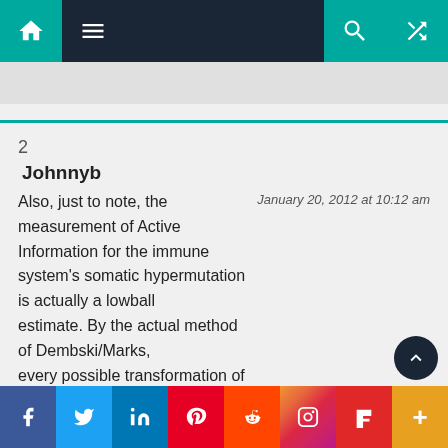Navigation bar with home, menu, search, shuffle icons
2
Johnnyb
Also, just to note, the measurement of Active Information for the immune system's somatic hypermutation is actually a lowball estimate. By the actual method of Dembski/Marks, every possible transformation of the genome (no matter how many nucleotides) would have to be considered. The 22 bit metric is based on the natural biasing of the search towards low-energy transformations (i.e. changes a few nucleotides is
f  Twitter  in  Pinterest  Reddit  Instagram  Flipboard  +